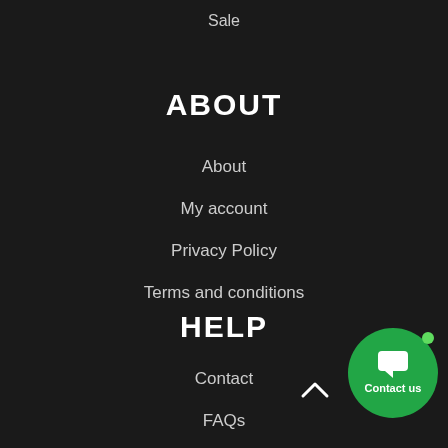Sale
ABOUT
About
My account
Privacy Policy
Terms and conditions
HELP
Contact
FAQs
Shipping & Delivery
Refund and Returns Policy
[Figure (illustration): Green circular Contact us button with chat icon and green dot indicator]
[Figure (illustration): Scroll to top chevron arrow icon]